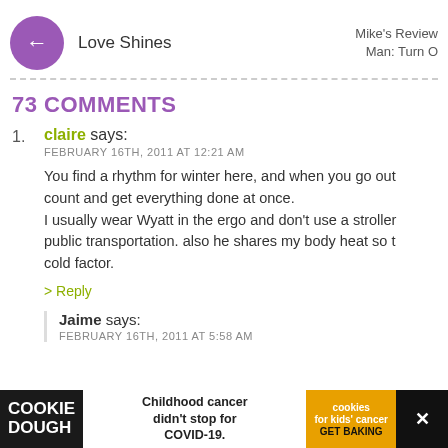← Love Shines | Mike's Review Man: Turn O
73 COMMENTS
1. claire says: FEBRUARY 16TH, 2011 AT 12:21 AM — You find a rhythm for winter here, and when you go out count and get everything done at once. I usually wear Wyatt in the ergo and don't use a stroller public transportation. also he shares my body heat so the cold factor. > Reply
Jaime says: FEBRUARY 16TH, 2011 AT 5:58 AM
[Figure (infographic): Cookie Dough advertisement bar: 'Childhood cancer didn't stop for COVID-19.' with cookies for kids' cancer GET BAKING branding]